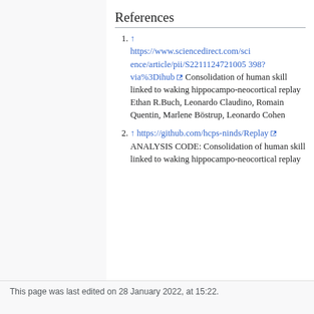References
↑ https://www.sciencedirect.com/science/article/pii/S2211124721005398?via%3Dihub Consolidation of human skill linked to waking hippocampo-neocortical replay Ethan R.Buch, Leonardo Claudino, Romain Quentin, Marlene Böstrup, Leonardo Cohen
↑ https://github.com/hcps-ninds/Replay ANALYSIS CODE: Consolidation of human skill linked to waking hippocampo-neocortical replay
This page was last edited on 28 January 2022, at 15:22.